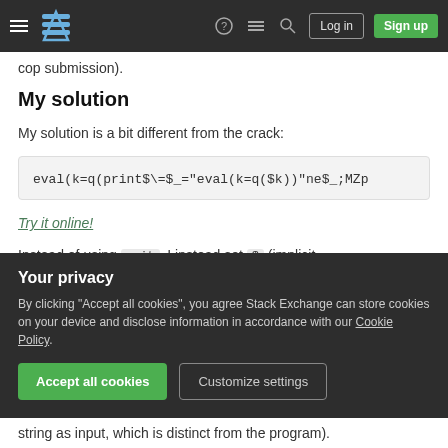Stack Exchange navigation bar with Log in and Sign up buttons
cop submission).
My solution
My solution is a bit different from the crack:
eval(k=q(print$\=$_="eval(k=q($k))"ne$_;MZp
Try it online!
Instead of using exit , I instead set $ (implicit
Your privacy
By clicking "Accept all cookies", you agree Stack Exchange can store cookies on your device and disclose information in accordance with our Cookie Policy.
Accept all cookies
Customize settings
string as input, which is distinct from the program).